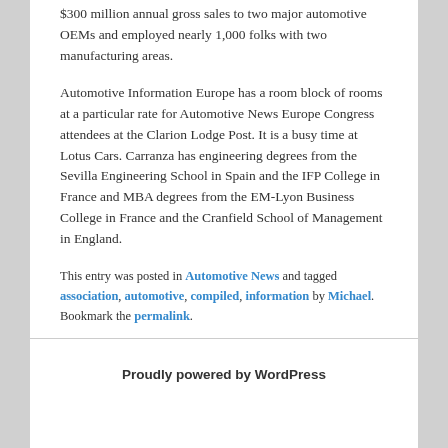$300 million annual gross sales to two major automotive OEMs and employed nearly 1,000 folks with two manufacturing areas.
Automotive Information Europe has a room block of rooms at a particular rate for Automotive News Europe Congress attendees at the Clarion Lodge Post. It is a busy time at Lotus Cars. Carranza has engineering degrees from the Sevilla Engineering School in Spain and the IFP College in France and MBA degrees from the EM-Lyon Business College in France and the Cranfield School of Management in England.
This entry was posted in Automotive News and tagged association, automotive, compiled, information by Michael. Bookmark the permalink.
Proudly powered by WordPress